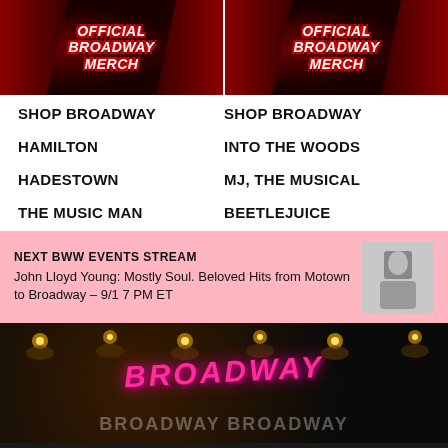[Figure (photo): Two side-by-side images showing 'OFFICIAL BROADWAY MERCH' text on dark background with red curtains]
SHOP BROADWAY
SHOP BROADWAY
HAMILTON
INTO THE WOODS
HADESTOWN
MJ, THE MUSICAL
THE MUSIC MAN
BEETLEJUICE
NEXT BWW EVENTS STREAM
John Lloyd Young: Mostly Soul. Beloved Hits from Motown to Broadway – 9/1 7 PM ET
[Figure (photo): Broadway logo/banner with pink Broadway text over dark background with stage lights]
Broadway Rewind: THE SECRET GARDEN Blooms Again 25 Years Later